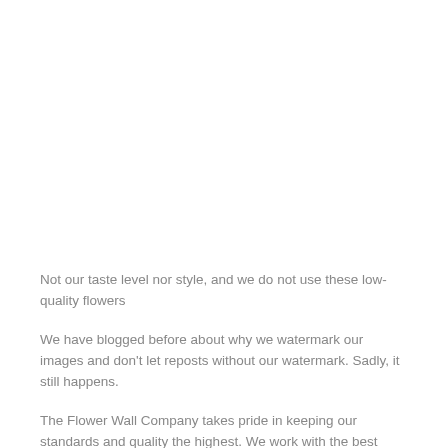Not our taste level nor style, and we do not use these low-quality flowers
We have blogged before about why we watermark our images and don't let reposts without our watermark. Sadly, it still happens.
The Flower Wall Company takes pride in keeping our standards and quality the highest. We work with the best